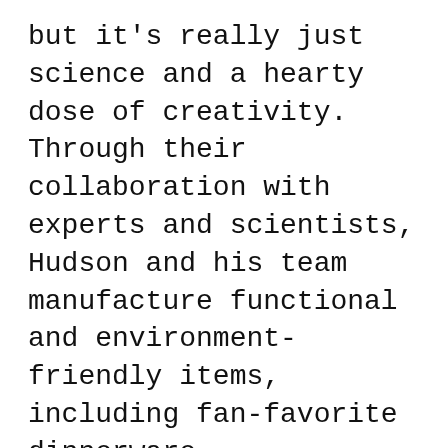but it's really just science and a hearty dose of creativity. Through their collaboration with experts and scientists, Hudson and his team manufacture functional and environment-friendly items, including fan-favorite dinnerware.
Preserve's lightweight, sturdy, BPA-free dinnerware can be bought as a set or open stock. Their tabletop collection is perfect for on-the-go meals or everyday use at home. Now, who hasn't been bothered with cutlery marks on dinnerware that is somewhat